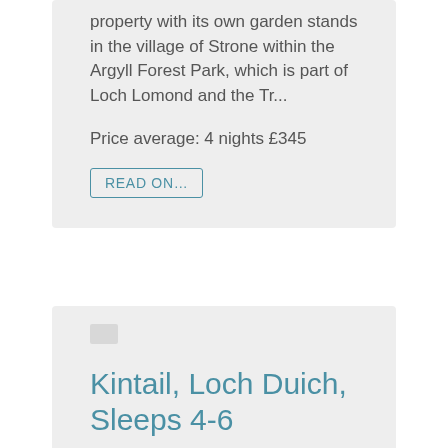property with its own garden stands in the village of Strone within the Argyll Forest Park, which is part of Loch Lomond and the Tr...
Price average: 4 nights £345
READ ON...
Kintail, Loch Duich, Sleeps 4-6
On the shores of Loch Duich, with